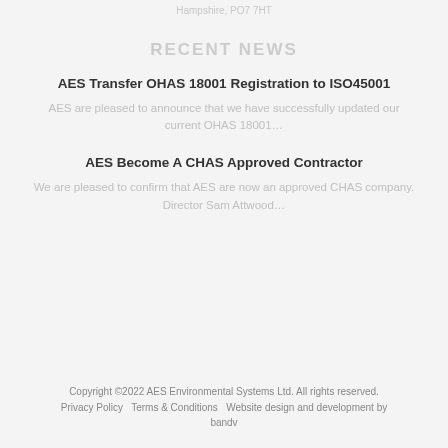Hampshire, PO7 7HT
RECENT NEWS
AES Transfer OHAS 18001 Registration to ISO45001
AES are pleased to announce that we have successfully updated our current OHAS 18001…
AES Become A CHAS Approved Contractor
We are pleased to confirm that AES are now an approved CHAS company. Director Sam Attwood…
Copyright ©2022 AES Environmental Systems Ltd. All rights reserved.
Privacy Policy   Terms & Conditions   Website design and development by bandv